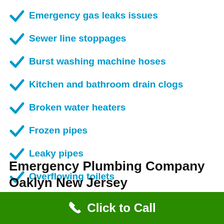Emergency gas leaks issues
Sewer line stoppages
Burst washing machine hoses
Kitchen and bathroom drain clogs
Broken water heaters
Frozen pipes
Leaky pipes
Overflowing toilets
And more
Emergency Plumbing Company Oaklyn New Jersey
Click to Call